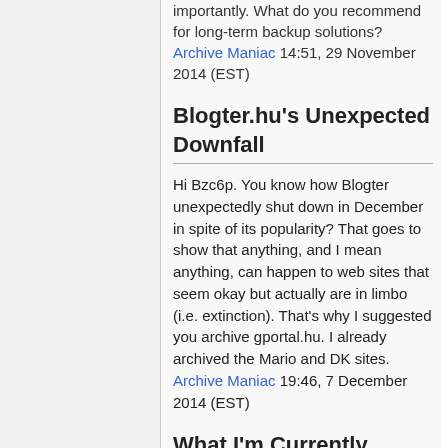Archive Maniac 14:51, 29 November 2014 (EST)
Blogter.hu's Unexpected Downfall
Hi Bzc6p. You know how Blogter unexpectedly shut down in December in spite of its popularity? That goes to show that anything, and I mean anything, can happen to web sites that seem okay but actually are in limbo (i.e. extinction). That's why I suggested you archive gportal.hu. I already archived the Mario and DK sites. Archive Maniac 19:46, 7 December 2014 (EST)
What I'm Currently Doing